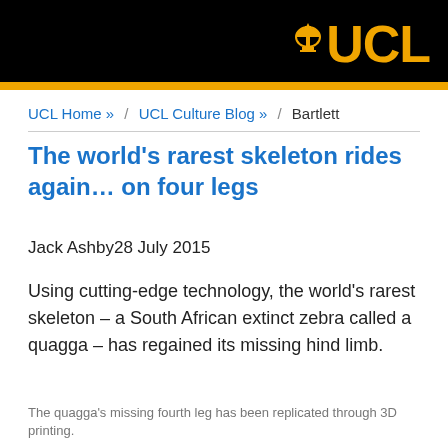[Figure (logo): UCL logo with dome icon and yellow UCL text on black background]
UCL Home » / UCL Culture Blog » / Bartlett
The world's rarest skeleton rides again… on four legs
Jack Ashby28 July 2015
Using cutting-edge technology, the world's rarest skeleton – a South African extinct zebra called a quagga – has regained its missing hind limb.
The quagga's missing fourth leg has been replicated through 3D printing.